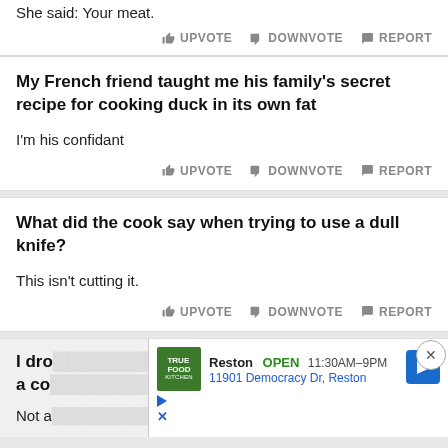She said: Your meat.
UPVOTE  DOWNVOTE  REPORT
My French friend taught me his family's secret recipe for cooking duck in its own fat
I'm his confidant
UPVOTE  DOWNVOTE  REPORT
What did the cook say when trying to use a dull knife?
This isn't cutting it.
UPVOTE  DOWNVOTE  REPORT
I dro...ng a co...
Not a...
[Figure (screenshot): Ad banner for True Food Kitchen, Reston. OPEN 11:30AM–9PM, 11901 Democracy Dr, Reston, with navigation arrow icon.]